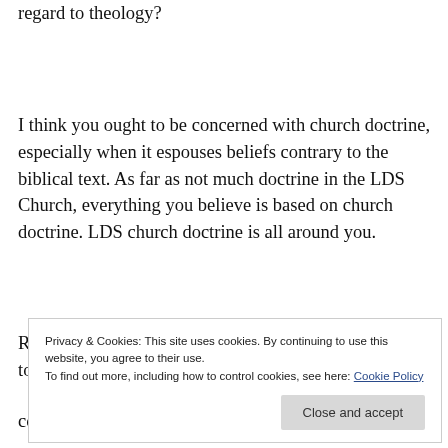regard to theology?
I think you ought to be concerned with church doctrine, especially when it espouses beliefs contrary to the biblical text. As far as not much doctrine in the LDS Church, everything you believe is based on church doctrine. LDS church doctrine is all around you.
Regarding BY, I’m just glad I no longer have to struggle to defend his erroneous teachings. What doiffe...
correct or complete tomorrow? A “prophet” today
Privacy & Cookies: This site uses cookies. By continuing to use this website, you agree to their use.
To find out more, including how to control cookies, see here: Cookie Policy